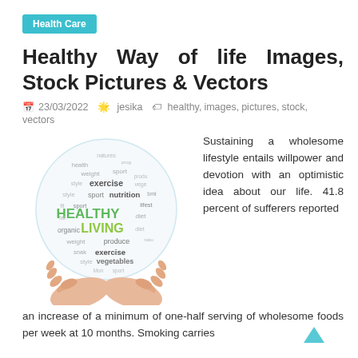Health Care
Healthy Way of life Images, Stock Pictures & Vectors
23/03/2022  jesika  healthy, images, pictures, stock, vectors
[Figure (illustration): A globe-shaped word cloud with health and wellness terms (exercise, nutrition, HEALTHY LIVING, organic, vegetables, etc.) being held up by two cupped hands.]
Sustaining a wholesome lifestyle entails willpower and devotion with an optimistic idea about our life. 41.8 percent of sufferers reported an increase of a minimum of one-half serving of wholesome foods per week at 10 months. Smoking carries